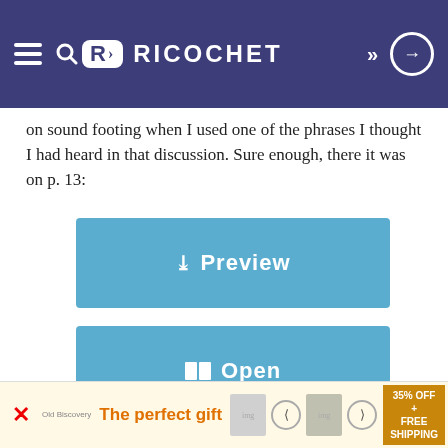RICOCHET
on sound footing when I used one of the phrases I thought I had heard in that discussion. Sure enough, there it was on p. 13:
[Figure (screenshot): Blue button with chevron-down icon and text 'Preview']
[Figure (screenshot): Blue button with open-book icon and text 'Open']
⚡ On a Given Sunday
Dave Carter
June 4, 2019
[Figure (infographic): Advertisement banner: 'The perfect gift' with product images and '35% OFF + FREE SHIPPING']